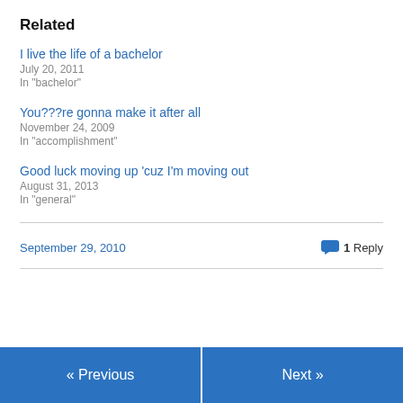Related
I live the life of a bachelor
July 20, 2011
In "bachelor"
You???re gonna make it after all
November 24, 2009
In "accomplishment"
Good luck moving up ‘cuz I’m moving out
August 31, 2013
In "general"
September 29, 2010
1 Reply
« Previous
Next »